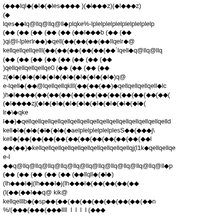(◆◆◆lql◆(◆l◆(◆les◆◆◆◆)(◆l◆◆◆z)(◆l◆◆◆z)
(◆
lqes◆◆lq@llq@llq@ll◆plqke%-lplelplelplelplelplelplelp
(◆◆ (◆◆ (◆◆ (◆◆ (◆◆ (◆◆l◆◆◆b (◆◆ (◆◆
)qi@l-lplerlr◆◆)◆qell(◆◆(◆◆(◆◆(◆◆llqelr◆@
kellqellqellqelll(◆◆(◆◆(◆◆(◆◆(◆◆(◆◆`lqell◆q@llq@llq
(◆◆ (◆◆ (◆◆ (◆◆ (◆◆ (◆◆ (◆◆ (◆◆
)qellqellqellqellqe0 (◆◆ (◆◆ (◆◆ (◆◆
z(◆l◆(◆l◆(◆l◆(◆l◆(◆l◆(◆l◆(◆l◆(◆l◆)q@
e-lqell◆(◆◆@lqellqellqklll(◆◆(◆◆(◆◆)◆qellqellqellqell◆ll
)h◆l◆◆◆◆(◆◆(◆◆(◆◆(◆◆(◆◆(◆◆(◆◆(◆◆(◆◆(◆◆(◆◆(
(◆l◆◆◆◆zj(◆l◆(◆l◆(◆l◆(◆l◆(◆l◆(◆l◆(◆l◆(◆l◆(
lr◆\◆qke
l◆◆)◆qellqellqellqellqellqellqellqellqellqellqellqellqellqellqelld
kell◆l◆(◆l◆(◆l◆(◆l◆(◆aelplelplelplelplesS◆◆(◆◆◆j\
kell◆(◆◆(◆◆(◆◆(◆◆(◆◆(◆◆(◆◆(◆◆(◆◆(◆◆(◆◆l
◆◆(◆◆)◆kellqellqellqellqellqellqellqellqellqellqj(l1k◆qellqellqe
e-l
◆◆q@llq@llq@llq@llq@llq@llq@llq@llq@llq@llq@llq@ll◆p
(◆◆ (◆◆ (◆◆ (◆◆ (◆◆ (◆◆llqll◆(◆l◆)
(lh◆◆◆l◆j(lh◆◆◆l◆j(lh◆◆◆l◆(◆◆(◆◆(◆◆(◆◆
(l(◆◆(◆◆l◆◆q@ kik@
kellqelllb◆(◆sp◆◆(◆◆(◆◆(◆◆(◆◆(◆◆(◆◆(◆◆(◆◆n
%/(◆◆◆(◆◆◆(◆◆◆llll l l l l (◆◆◆